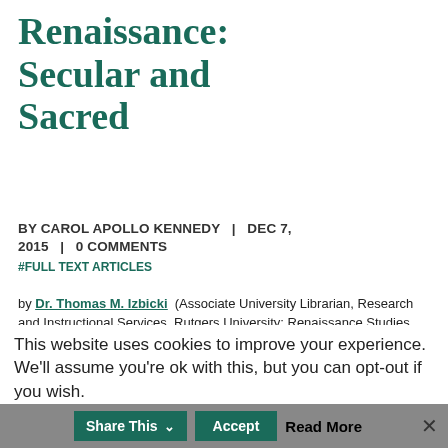Renaissance: Secular and Sacred
BY CAROL APOLLO KENNEDY | DEC 7, 2015 | 0 COMMENTS
#FULL TEXT ARTICLES
by Dr. Thomas M. Izbicki (Associate University Librarian, Research and Instructional Services, Rutgers University; Renaissance Studies Editor, Resources for College Libraries) <tizbicki@rci.rutgers.edu>
Column Editor: Anne Doherty (Resources for College Libraries Project Editor, CHOICE/ACRL)
This website uses cookies to improve your experience. We'll assume you're ok with this, but you can opt-out if you wish.
Accept | Share This | Read More | ×